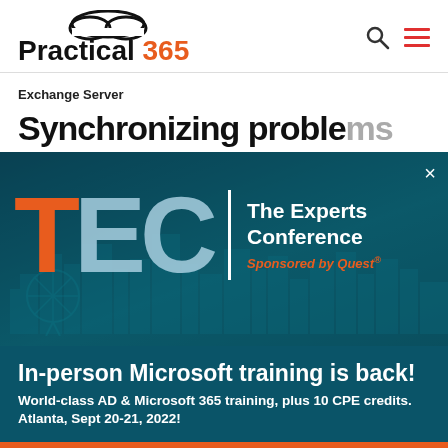Practical 365
Exchange Server
Synchronizing problems…
[Figure (screenshot): TEC — The Experts Conference advertisement overlay. Dark teal background with city skyline. Large letters TEC (T in orange, E and C in light blue). White vertical divider. Text: 'The Experts Conference' in white, 'Sponsored by Quest' in orange italic. Bottom section: 'In-person Microsoft training is back!' headline in white bold. Subtext: 'World-class AD & Microsoft 365 training, plus 10 CPE credits.' and 'Atlanta, Sept 20-21, 2022!' Orange close (×) button in top right. Orange button strip at bottom.]
In-person Microsoft training is back!
World-class AD & Microsoft 365 training, plus 10 CPE credits.
Atlanta, Sept 20-21, 2022!